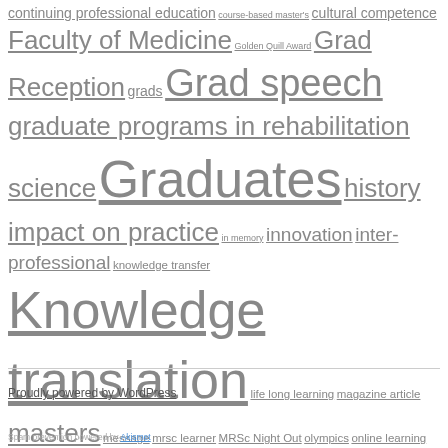continuing professional education course-based master's cultural competence Faculty of Medicine Golden Quill Award Grad Reception grads Grad speech graduate programs in rehabilitation science Graduates history impact on practice in memory innovation inter-professional knowledge transfer Knowledge translation life long learning magazine article masters message mrsc learner MRSc Night Out olympics online learning pelvic floor rehabilitation rehab webinars Research Research Relays sports medicine staff sue stewart tv UBC valedictorian speech vice dean workplace solutions
Proudly powered by WordPress
Spam prevention powered by Akismet